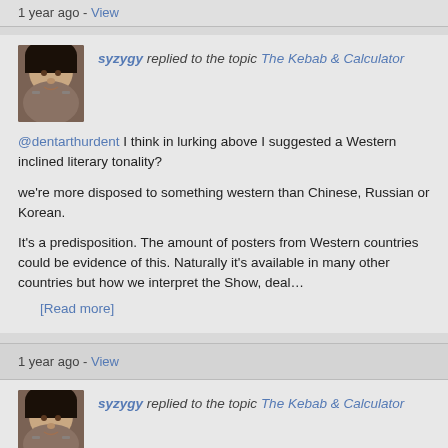1 year ago - View
syzygy replied to the topic The Kebab & Calculator
@dentarthurdent I think in lurking above I suggested a Western inclined literary tonality?
we're more disposed to something western than Chinese, Russian or Korean.
It's a predisposition. The amount of posters from Western countries could be evidence of this. Naturally it's available in many other countries but how we interpret the Show, deal… [Read more]
1 year ago - View
syzygy replied to the topic The Kebab & Calculator